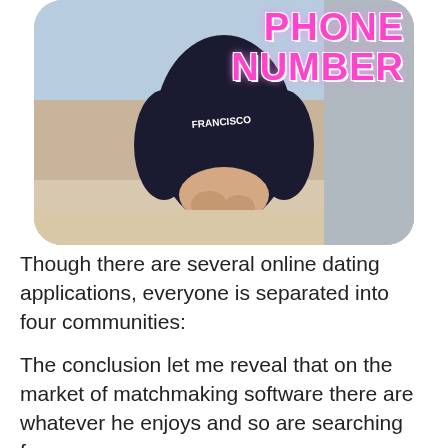[Figure (photo): A person in a dark sweatshirt with 'FRANCISCO' text and dark bikini bottom, photographed from behind at the beach. The image has rounded corners. Overlaid text in pink bubble letters reads 'PHONE NUMBER'.]
Though there are several online dating applications, everyone is separated into four communities:
The conclusion let me reveal that on the market of matchmaking software there are whatever he enjoys and so are searching for.
Having reviewed the information about the internet dating apps market, we've